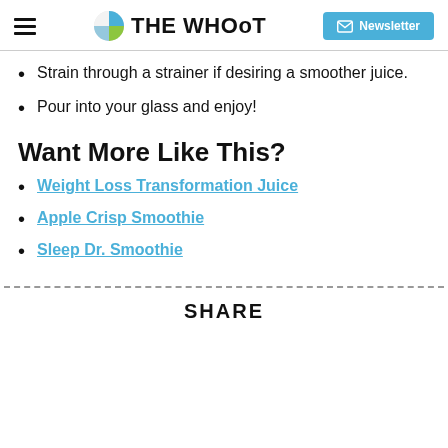THE WHOOT | Newsletter
Strain through a strainer if desiring a smoother juice.
Pour into your glass and enjoy!
Want More Like This?
Weight Loss Transformation Juice
Apple Crisp Smoothie
Sleep Dr. Smoothie
SHARE